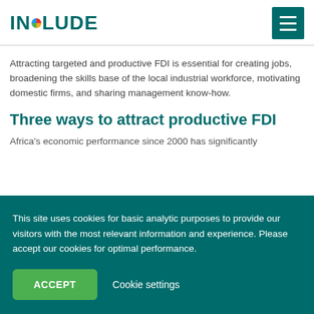INCLUDE
Attracting targeted and productive FDI is essential for creating jobs, broadening the skills base of the local industrial workforce, motivating domestic firms, and sharing management know-how.
Three ways to attract productive FDI
Africa's economic performance since 2000 has significantly
This site uses cookies for basic analytic purposes to provide our visitors with the most relevant information and experience. Please accept our cookies for optimal performance.
ACCEPT
Cookie settings